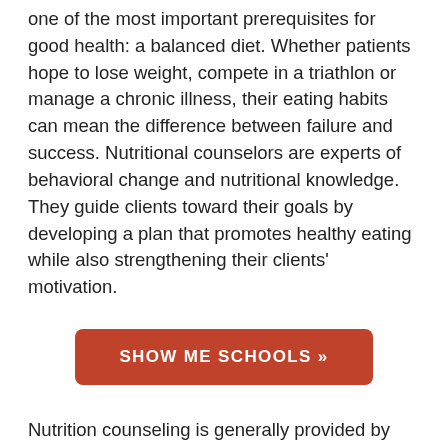one of the most important prerequisites for good health: a balanced diet. Whether patients hope to lose weight, compete in a triathlon or manage a chronic illness, their eating habits can mean the difference between failure and success. Nutritional counselors are experts of behavioral change and nutritional knowledge. They guide clients toward their goals by developing a plan that promotes healthy eating while also strengthening their clients' motivation.
[Figure (other): A red rounded rectangle button with white bold uppercase text reading 'SHOW ME SCHOOLS »']
Nutrition counseling is generally provided by professionals such as registered dietitians, who are experts in food chemistry, disease process and physiology. Dietitians